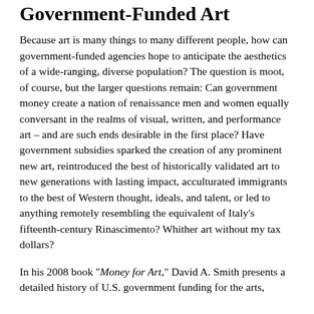Government-Funded Art
Because art is many things to many different people, how can government-funded agencies hope to anticipate the aesthetics of a wide-ranging, diverse population? The question is moot, of course, but the larger questions remain: Can government money create a nation of renaissance men and women equally conversant in the realms of visual, written, and performance art – and are such ends desirable in the first place? Have government subsidies sparked the creation of any prominent new art, reintroduced the best of historically validated art to new generations with lasting impact, acculturated immigrants to the best of Western thought, ideals, and talent, or led to anything remotely resembling the equivalent of Italy's fifteenth-century Rinascimento? Whither art without my tax dollars?
In his 2008 book "Money for Art," David A. Smith presents a detailed history of U.S. government funding for the arts,